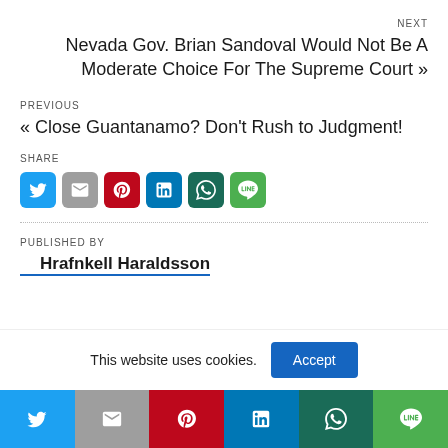NEXT
Nevada Gov. Brian Sandoval Would Not Be A Moderate Choice For The Supreme Court »
PREVIOUS
« Close Guantanamo? Don't Rush to Judgment!
SHARE
[Figure (infographic): Row of social share icon buttons: Twitter (blue), Gmail (gray), Pinterest (red), LinkedIn (blue), WhatsApp (dark green), Line (green)]
PUBLISHED BY
Hrafnkell Haraldsson
This website uses cookies.
[Figure (infographic): Bottom bar with social share icons: Twitter, Gmail, Pinterest, LinkedIn, WhatsApp, Line]